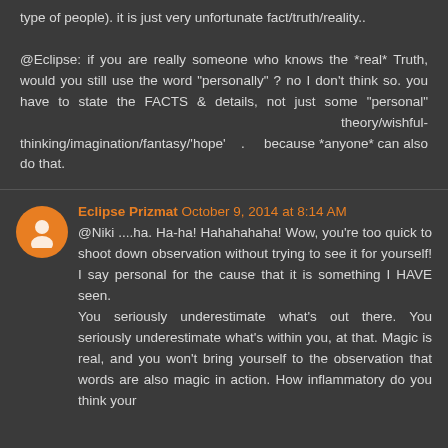type of people). it is just very unfortunate fact/truth/reality..
@Eclipse: if you are really someone who knows the *real* Truth, would you still use the word "personally" ? no I don't think so. you have to state the FACTS & details, not just some "personal" theory/wishful-thinking/imagination/fantasy/'hope' . because *anyone* can also do that.
Eclipse Prizmat October 9, 2014 at 8:14 AM
@Niki ....ha. Ha-ha! Hahahahaha! Wow, you're too quick to shoot down observation without trying to see it for yourself! I say personal for the cause that it is something I HAVE seen.
You seriously underestimate what's out there. You seriously underestimate what's within you, at that. Magic is real, and you won't bring yourself to the observation that words are also magic in action. How inflammatory do you think your